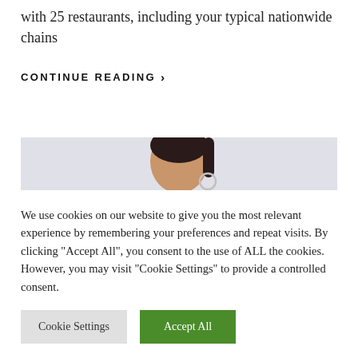with 25 restaurants, including your typical nationwide chains
CONTINUE READING ›
[Figure (photo): Photo of a woman wearing a red floral dress, cropped to show neck and upper torso, against a light gray background]
We use cookies on our website to give you the most relevant experience by remembering your preferences and repeat visits. By clicking "Accept All", you consent to the use of ALL the cookies. However, you may visit "Cookie Settings" to provide a controlled consent.
Cookie Settings   Accept All